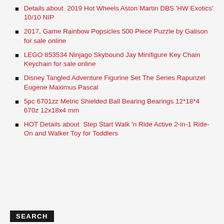Details about  2019 Hot Wheels Aston Martin DBS 'HW Exotics' 10/10 NIP
2017, Game Rainbow Popsicles 500 Piece Puzzle by Galison for sale online
LEGO 853534 Ninjago Skybound Jay Minifigure Key Chain Keychain for sale online
Disney Tangled Adventure Figurine Set The Series Rapunzel Eugene Maximus Pascal
5pc 6701zz Metric Shielded Ball Bearing Bearings 12*18*4 670z 12x18x4 mm
HOT Details about  Step Start Walk 'n Ride Active 2-in-1 Ride-On and Walker Toy for Toddlers
SEARCH